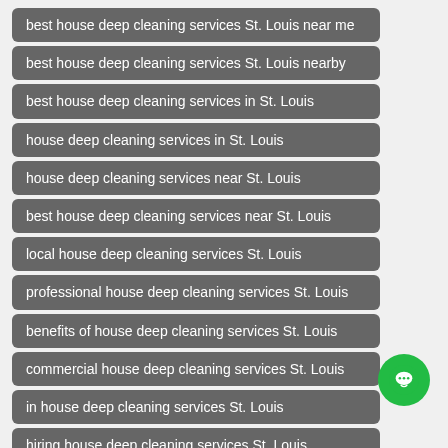best house deep cleaning services St. Louis near me
best house deep cleaning services St. Louis nearby
best house deep cleaning services in St. Louis
house deep cleaning services in St. Louis
house deep cleaning services near St. Louis
best house deep cleaning services near St. Louis
local house deep cleaning services St. Louis
professional house deep cleaning services St. Louis
benefits of house deep cleaning services St. Louis
commercial house deep cleaning services St. Louis
in house deep cleaning services St. Louis
hiring house deep cleaning services St. Louis